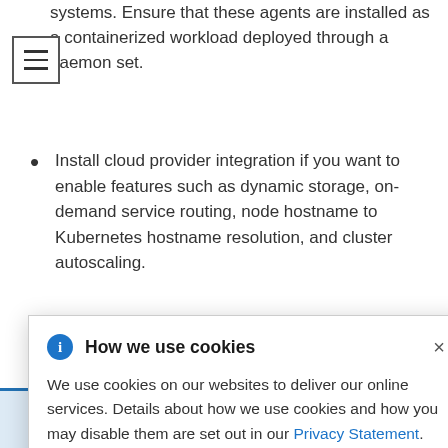systems. Ensure that these agents are installed as a containerized workload deployed through a daemon set.
Install cloud provider integration if you want to enable features such as dynamic storage, on-demand service routing, node hostname to Kubernetes hostname resolution, and cluster autoscaling.
[Figure (other): Hamburger menu icon (three horizontal lines in a square border)]
How we use cookies - Cookie consent popup. We use cookies on our websites to deliver our online services. Details about how we use cookies and how you may disable them are set out in our Privacy Statement. By using this website you agree to our use of cookies.
provider to be added to a cluster, and it is